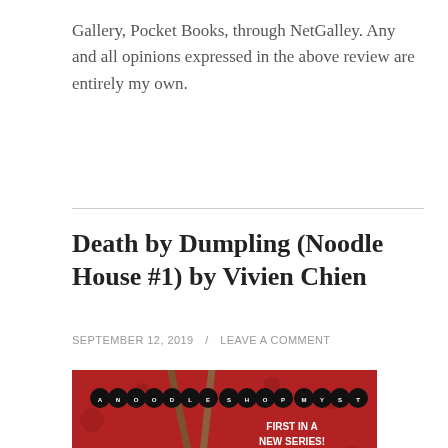Gallery, Pocket Books, through NetGalley. Any and all opinions expressed in the above review are entirely my own.
Death by Dumpling (Noodle House #1) by Vivien Chien
SEPTEMBER 12, 2019 / LEAVE A COMMENT
[Figure (illustration): Book cover for Death by Dumpling (Noodle House #1) by Vivien Chien. Red background with floral pattern, chopsticks, a white dumpling with noodles. Text reads 'A NOODLE SHOP MYSTERY' in circular badges and 'FIRST IN A NEW SERIES!' in white text.]